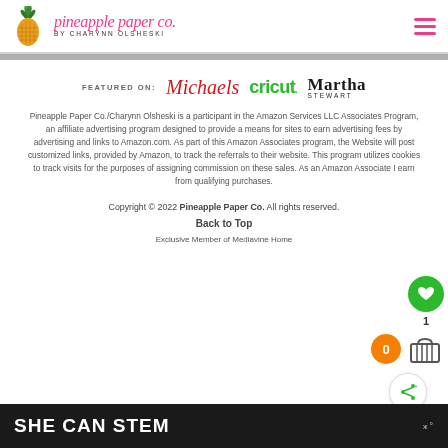pineapple paper co. by CHARYNN OLSHESKI
[Figure (logo): Pineapple Paper Co. logo with pineapple illustration and script text]
FEATURED ON: Michaels cricut Martha Stewart
Pineapple Paper Co./Charynn Olsheski is a participant in the Amazon Services LLC Associates Program, an affiliate advertising program designed to provide a means for sites to earn advertising fees by advertising and links to Amazon.com. As part of this Amazon Associates program, the Website will post customized links, provided by Amazon, to track the referrals to their website. This program utilizes cookies to track visits for the purposes of assigning commission on these sales. As an Amazon Associate I earn from qualifying purchases.
Copyright © 2022 Pineapple Paper Co. All rights reserved.
Back to Top
Exclusive Member of Mediavine Home
SHE CAN STEM